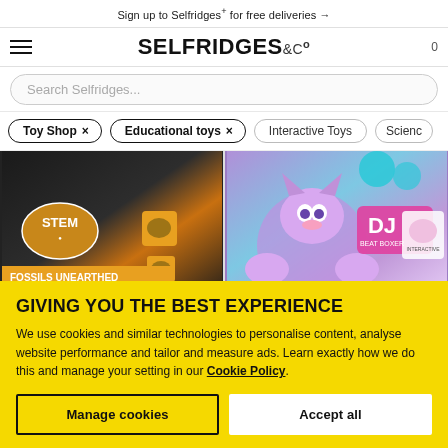Sign up to Selfridges+ for free deliveries →
[Figure (logo): Selfridges & Co logo with hamburger menu icon on left and cart count 0 on right]
Search Selfridges...
Toy Shop × Educational toys × Interactive Toys Science
[Figure (photo): Two product images: STEM Fossils Unearthed excavation set on left, and DJ Beat Boxer interactive toy on right]
GIVING YOU THE BEST EXPERIENCE
We use cookies and similar technologies to personalise content, analyse website performance and tailor and measure ads. Learn exactly how we do this and manage your setting in our Cookie Policy.
Manage cookies
Accept all